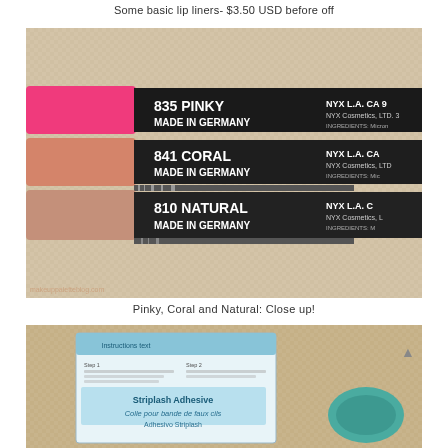Some basic lip liners- $3.50 USD before off
[Figure (photo): Close-up photo of three NYX lip liner pencils: 835 Pinky (pink tip), 841 Coral (coral tip), and 810 Natural (nude tip), all Made in Germany, lying on a woven fabric background.]
Pinky, Coral and Natural: Close up!
[Figure (photo): Partial photo showing Striplash Adhesive packaging and a teal/turquoise cosmetic item on a woven fabric background.]